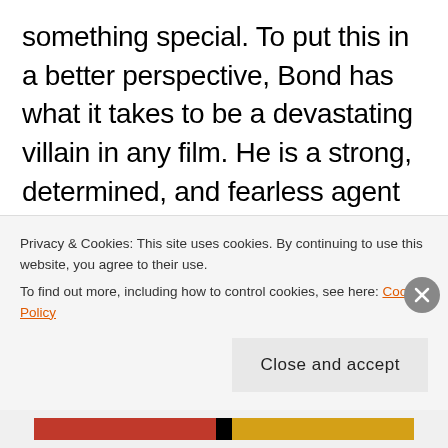something special. To put this in a better perspective, Bond has what it takes to be a devastating villain in any film. He is a strong, determined, and fearless agent that will do what it takes to save the world. The villains on the other hand, use their abilities and resources to establish world order and domination under their control. They also share the same characteristics as Bond. Which brings up a great point: it is not about the
Privacy & Cookies: This site uses cookies. By continuing to use this website, you agree to their use. To find out more, including how to control cookies, see here: Cookie Policy
Close and accept